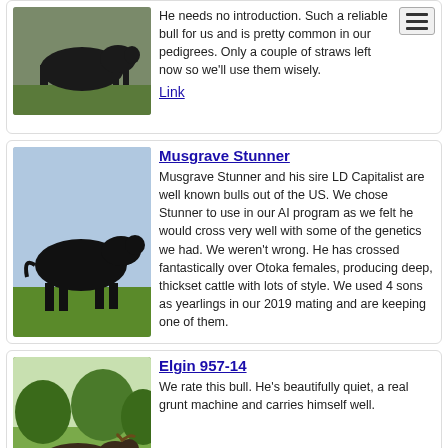[Figure (photo): Black bull standing in grass field, top portion of card visible]
He needs no introduction. Such a reliable bull for us and is pretty common in our pedigrees. Only a couple of straws left now so we'll use them wisely.
Link
[Figure (photo): Black Angus bull standing on green grass]
Musgrave Stunner
Musgrave Stunner and his sire LD Capitalist are well known bulls out of the US. We chose Stunner to use in our AI program as we felt he would cross very well with some of the genetics we had. We weren't wrong. He has crossed fantastically over Otoka females, producing deep, thickset cattle with lots of style. We used 4 sons as yearlings in our 2019 mating and are keeping one of them.
[Figure (photo): Dark brown bull standing in green pasture with trees]
Elgin 957-14
We rate this bull. He's beautifully quiet, a real grunt machine and carries himself well.
[Figure (photo): Black bull partially visible at bottom of page]
Brookwood Xman H201
Our very first calf born, he is a very thick easy